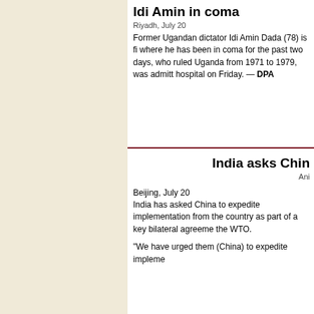Idi Amin in coma
Riyadh, July 20
Former Ugandan dictator Idi Amin Dada (78) is fi where he has been in coma for the past two days, who ruled Uganda from 1971 to 1979, was admitt hospital on Friday. — DPA
India asks Chin
Ani
Beijing, July 20
India has asked China to expedite implementation from the country as part of a key bilateral agreeme the WTO.
"We have urged them (China) to expedite impleme